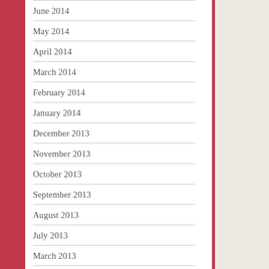June 2014
May 2014
April 2014
March 2014
February 2014
January 2014
December 2013
November 2013
October 2013
September 2013
August 2013
July 2013
March 2013
July 2012
October 2011